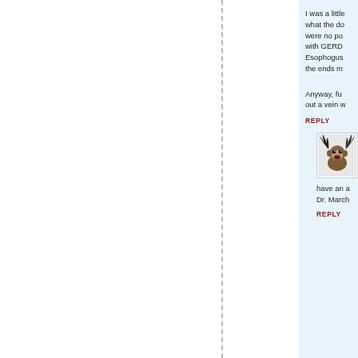I was a little what the do were no po with GERD Esophogus the ends m
Anyway, fu out a vein w
REPLY
[Figure (photo): Photo of a monkey with wings or bird feathers, appearing to scream or yawn, on a white background]
have an a Dr. March
REPLY